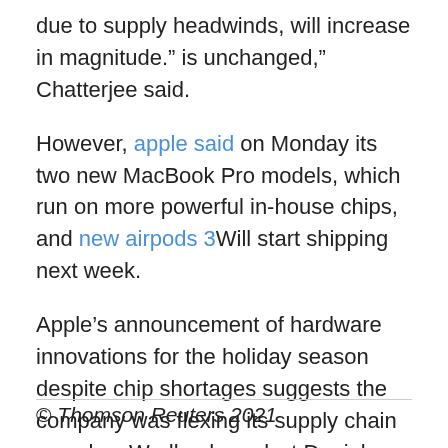due to supply headwinds, will increase in magnitude.” is unchanged,” Chatterjee said.
However, apple said on Monday its two new MacBook Pro models, which run on more powerful in-house chips, and new airpods 3Will start shipping next week.
Apple’s announcement of hardware innovations for the holiday season despite chip shortages suggests the company was flexing its supply chain muscles, Wedbush analyst Daniel Ives said.
© Thomson Reuters 2021